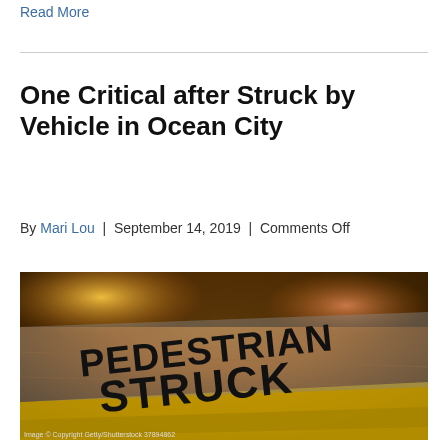Read More
One Critical after Struck by Vehicle in Ocean City
By Mari Lou | September 14, 2019 | Comments Off
[Figure (photo): Pedestrian Struck graphic overlay on nighttime road surface with yellow crosswalk markings. Image copyright Getty/Shutterstock.]